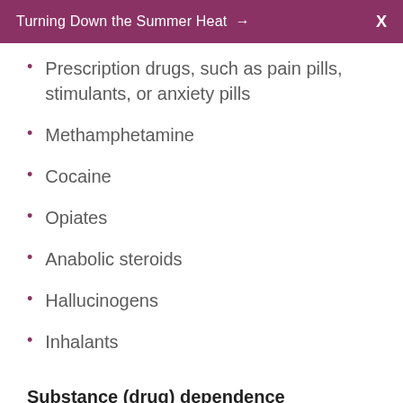Turning Down the Summer Heat → X
Prescription drugs, such as pain pills, stimulants, or anxiety pills
Methamphetamine
Cocaine
Opiates
Anabolic steroids
Hallucinogens
Inhalants
Substance (drug) dependence
Substance dependence describes abuse of drugs or alcohol that continues even when